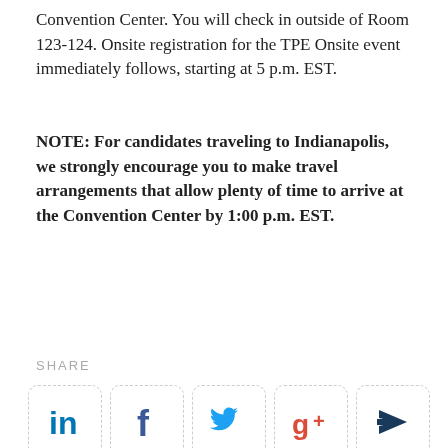Convention Center. You will check in outside of Room 123-124. Onsite registration for the TPE Onsite event immediately follows, starting at 5 p.m. EST.
NOTE: For candidates traveling to Indianapolis, we strongly encourage you to make travel arrangements that allow plenty of time to arrive at the Convention Center by 1:00 p.m. EST.
SHARE
[Figure (infographic): Row of five social media share buttons in dashed-border boxes: LinkedIn (blue 'in'), Facebook (dark blue 'f'), Twitter (light blue bird), Google+ (red 'g+'), and a dark blue paper-plane forward/share icon.]